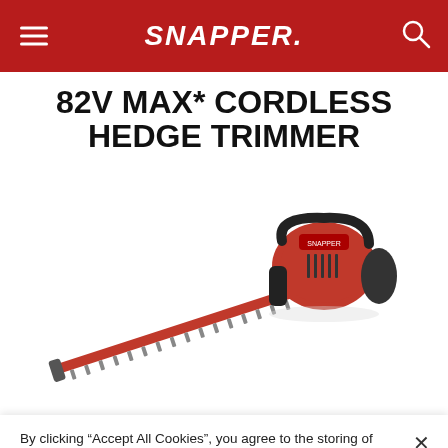SNAPPER.
82V MAX* CORDLESS HEDGE TRIMMER
[Figure (photo): A Snapper 82V MAX cordless hedge trimmer with a long red blade bar and black body, shown on a white background.]
By clicking “Accept All Cookies”, you agree to the storing of cookies on your device to enhance site navigation, analyze site usage, and assist in our marketing efforts.